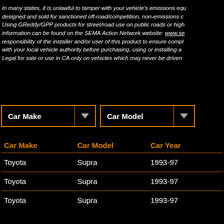In many states, it is unlawful to tamper with your vehicle's emissions equipment. GReddy/GPP products are designed and sold for sanctioned off-road/competition, non-emissions controlled vehicles only. Using GReddy/GPP products for street/road use on public roads or highways is prohibited. More information can be found on the SEMA Action Network website: www.sema.org/sema-action-network. It is the responsibility of the installer and/or user of this product to ensure compliance with all applicable laws. Check with your local vehicle authority before purchasing, using or installing any performance/aftermarket product. Legal for sale or use in CA only on vehicles which may never be driven on a public road or highway.
| Car Make | Car Model | Car Year |
| --- | --- | --- |
| Toyota | Supra | 1993-97 |
| Toyota | Supra | 1993-97 |
| Toyota | Supra | 1993-97 |